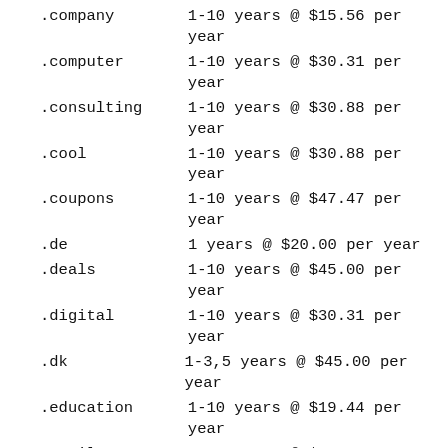.company    1-10 years @ $15.56 per year
.computer   1-10 years @ $30.31 per year
.consulting 1-10 years @ $30.88 per year
.cool       1-10 years @ $30.88 per year
.coupons    1-10 years @ $47.47 per year
.de         1 years @ $20.00 per year
.deals      1-10 years @ $45.00 per year
.digital    1-10 years @ $30.31 per year
.dk         1-3,5 years @ $45.00 per year
.education  1-10 years @ $19.44 per year
.email      1-10 years @ $20.59 per year
.engineering 1-10 years @ $48.61 per year
.enterprises 1-10 years @ $30.88 per year
.es         1-5 years @ $20.00 per year
.estate     1-10 years @ $30.88 per year
.eu         1-10 years @ $13.00 per year